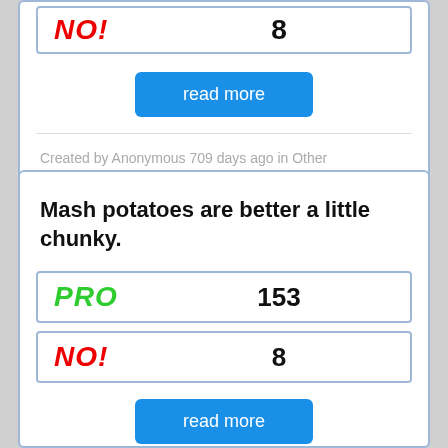[Figure (other): Partial top card showing NO! vote row with count partially visible, and a read more button]
Created by Anonymous 709 days ago in Other
Mash potatoes are better a little chunky.
PRO 153
NO! 8
read more